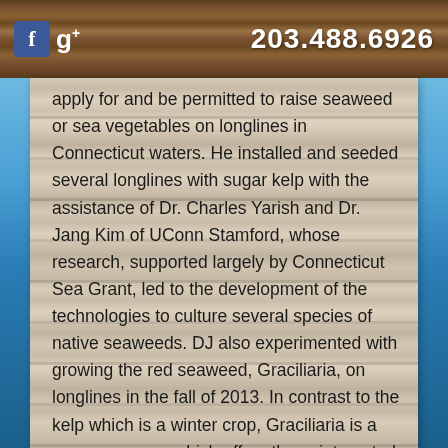f g+ 203.488.6926
apply for and be permitted to raise seaweed or sea vegetables on longlines in Connecticut waters. He installed and seeded several longlines with sugar kelp with the assistance of Dr. Charles Yarish and Dr. Jang Kim of UConn Stamford, whose research, supported largely by Connecticut Sea Grant, led to the development of the technologies to culture several species of native seaweeds. DJ also experimented with growing the red seaweed, Graciliaria, on longlines in the fall of 2013. In contrast to the kelp which is a winter crop, Graciliaria is a summer crop – which offers those interested in growing seaweed for food seasonally-different options. Connecticut Sea Grant, the Connecticut Department of Agriculture, Bureau of